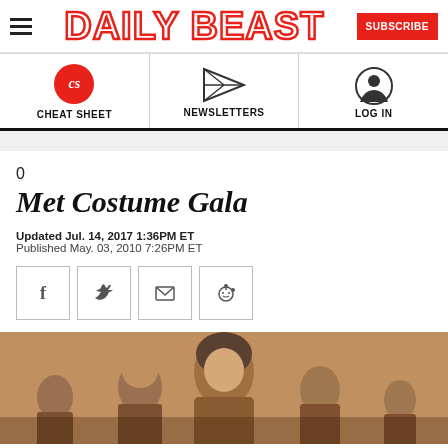DAILY BEAST
[Figure (logo): Daily Beast logo with red outline white text, hamburger menu icon on left, red SUBSCRIBE button on right]
[Figure (infographic): Navigation bar with three sections: Cheat Sheet (red CS circle icon), Newsletters (paper plane icon), Log In (person icon)]
0
Met Costume Gala
Updated Jul. 14, 2017 1:36PM ET
Published May. 03, 2010 7:26PM ET
[Figure (infographic): Social share buttons row: Facebook, Twitter, Email, Reddit]
[Figure (photo): Photo of people at Met Costume Gala event, man with long hair visible in foreground]